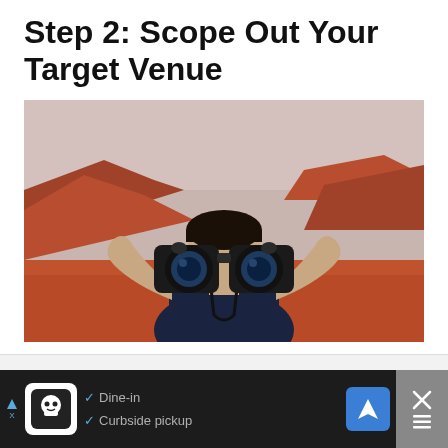Step 2: Scope Out Your Target Venue
[Figure (photo): Person holding binoculars up to their face against a red rock desert landscape background]
[Figure (other): Advertisement bar at bottom: restaurant/food ad with dine-in and curbside pickup options, navigation icon, and close button]